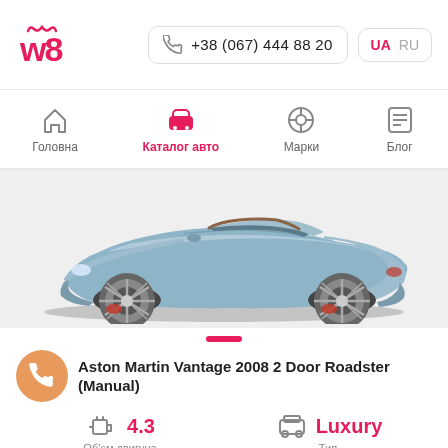[Figure (logo): w8 logo in red/pink color]
+38 (067) 444 88 20
UA  RU
Головна
Каталог авто
Марки
Блог
[Figure (photo): Silver Aston Martin Vantage 2008 2 Door Roadster convertible sports car viewed from the side on a gray background]
Aston Martin Vantage 2008 2 Door Roadster (Manual)
4.3
Об'єм двигуна
Luxury
Тип